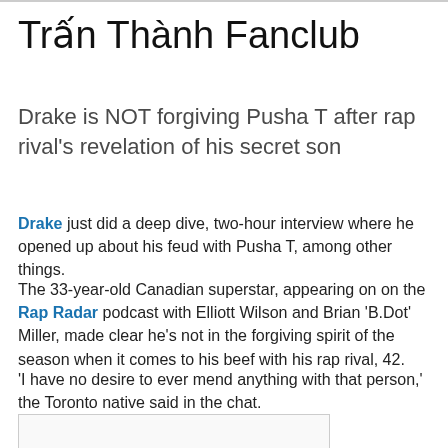Trấn Thành Fanclub
Drake is NOT forgiving Pusha T after rap rival's revelation of his secret son
Drake just did a deep dive, two-hour interview where he opened up about his feud with Pusha T, among other things.
The 33-year-old Canadian superstar, appearing on on the Rap Radar podcast with Elliott Wilson and Brian 'B.Dot' Miller, made clear he's not in the forgiving spirit of the season when it comes to his beef with his rap rival, 42.
'I have no desire to ever mend anything with that person,' the Toronto native said in the chat.
[Figure (other): Partial image box visible at bottom of page]